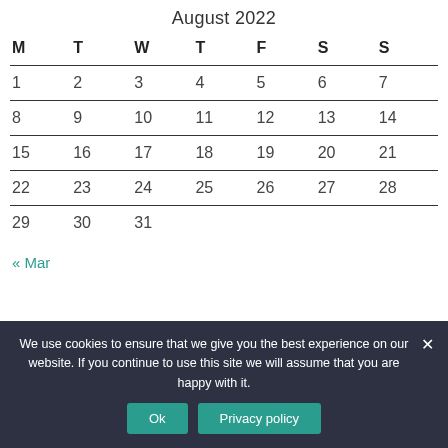August 2022
| M | T | W | T | F | S | S |
| --- | --- | --- | --- | --- | --- | --- |
| 1 | 2 | 3 | 4 | 5 | 6 | 7 |
| 8 | 9 | 10 | 11 | 12 | 13 | 14 |
| 15 | 16 | 17 | 18 | 19 | 20 | 21 |
| 22 | 23 | 24 | 25 | 26 | 27 | 28 |
| 29 | 30 | 31 |  |  |  |  |
« Mar
We use cookies to ensure that we give you the best experience on our website. If you continue to use this site we will assume that you are happy with it.
Ok
Privacy policy